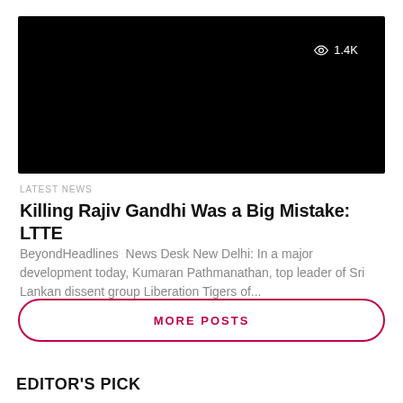[Figure (photo): Black video thumbnail with eye/view count overlay showing 1.4K views]
LATEST NEWS
Killing Rajiv Gandhi Was a Big Mistake: LTTE
BeyondHeadlines  News Desk New Delhi: In a major development today, Kumaran Pathmanathan, top leader of Sri Lankan dissent group Liberation Tigers of...
MORE POSTS
EDITOR'S PICK